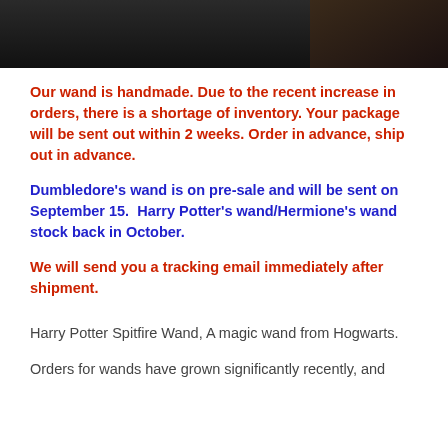[Figure (photo): Dark photo banner at top of page showing a dark background with partial view of hands or objects, split into two sections]
Our wand is handmade. Due to the recent increase in orders, there is a shortage of inventory. Your package will be sent out within 2 weeks. Order in advance, ship out in advance.
Dumbledore's wand is on pre-sale and will be sent on September 15.  Harry Potter's wand/Hermione's wand stock back in October.
We will send you a tracking email immediately after shipment.
Harry Potter Spitfire Wand, A magic wand from Hogwarts.
Orders for wands have grown significantly recently, and